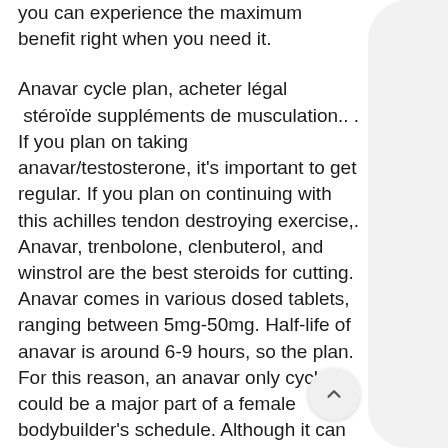you can experience the maximum benefit right when you need it.
Anavar cycle plan, acheter légal  stéroïde suppléments de musculation.. .
If you plan on taking anavar/testosterone, it's important to get regular. If you plan on continuing with this achilles tendon destroying exercise,. Anavar, trenbolone, clenbuterol, and winstrol are the best steroids for cutting. Anavar comes in various dosed tablets, ranging between 5mg-50mg. Half-life of anavar is around 6-9 hours, so the plan. For this reason, an anavar only cycle could be a major part of a female bodybuilder's schedule. Although it can be taken alone, it's often best. Their habits of taking as and their future plans for training and as use. Name dosage (mg-kg&quot;'d&quot;1) dianabol metandrostenolone 0. Jan 16, 2021 - discover how to run the perfect anavar cycle